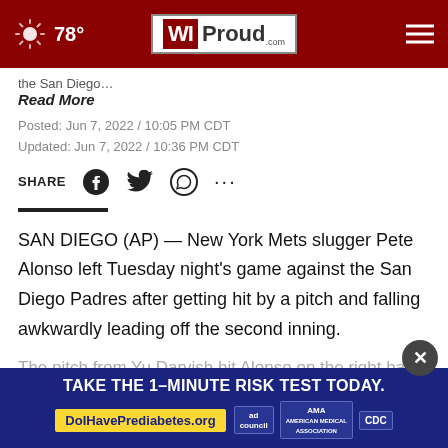78° WIProud.com
the San Diego...
Read More
Posted: Jun 7, 2022 / 10:05 PM CDT
Updated: Jun 7, 2022 / 10:36 PM CDT
SHARE
SAN DIEGO (AP) — New York Mets slugger Pete Alonso left Tuesday night's game against the San Diego Padres after getting hit by a pitch and falling awkwardly leading off the second inning.
The pitch from Yu Darvish hit Alonso on the right hand. Alonso...
[Figure (other): Advertisement banner: TAKE THE 1-MINUTE RISK TEST TODAY. DolHavePrediabetes.org with ad council, AMA, and CDC logos]